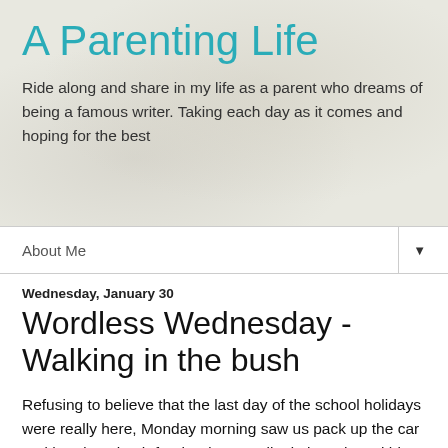A Parenting Life
Ride along and share in my life as a parent who dreams of being a famous writer. Taking each day as it comes and hoping for the best
About Me ▼
Wednesday, January 30
Wordless Wednesday - Walking in the bush
Refusing to believe that the last day of the school holidays were really here, Monday morning saw us pack up the car and head out bush for the day. I really do love that within a few short hours I can totally surround myself in the bush.
Here are a few pictures from our day at Litchfield National Park